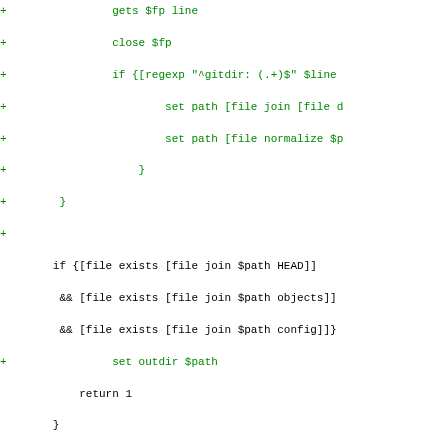[Figure (screenshot): A code diff view showing Tcl code additions and context lines. Green lines with '+' are additions, blue bold line is a hunk header, and black lines are context. The code involves file existence checks, git repository detection, and widget creation in a clone dialog.]